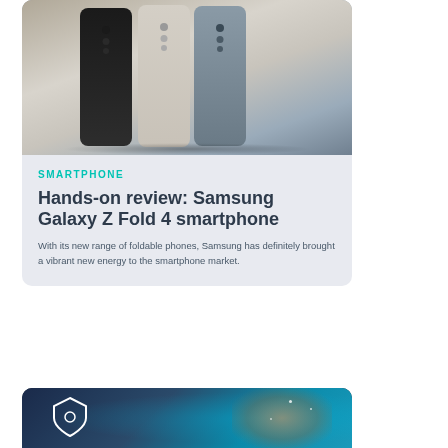[Figure (photo): Three Samsung Galaxy Z Fold 4 smartphones standing upright in black, cream/beige, and blue-gray colors against a neutral background]
SMARTPHONE
Hands-on review: Samsung Galaxy Z Fold 4 smartphone
With its new range of foldable phones, Samsung has definitely brought a vibrant new energy to the smartphone market.
[Figure (photo): Person in dark clothing holding up a glowing shield/security icon against a blue-lit background]